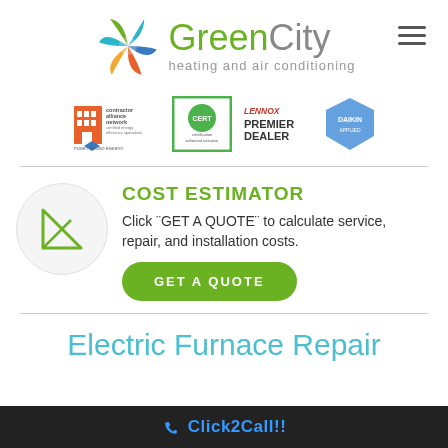[Figure (logo): GreenCity heating and air conditioning logo with colorful circular icon made of overlapping leaf-like shapes in green, blue, teal, and orange, followed by text 'GreenCity' and tagline 'heating and air conditioning']
[Figure (logo): Partner logos bar: Contractor Alliance Network / Puget Sound Energy, a green-bordered certification seal, Lennox Premier Dealer, and Daikin logos]
COST ESTIMATOR
Click "GET A QUOTE" to calculate service, repair, and installation costs.
GET A QUOTE
Electric Furnace Repair
Click2Call!!